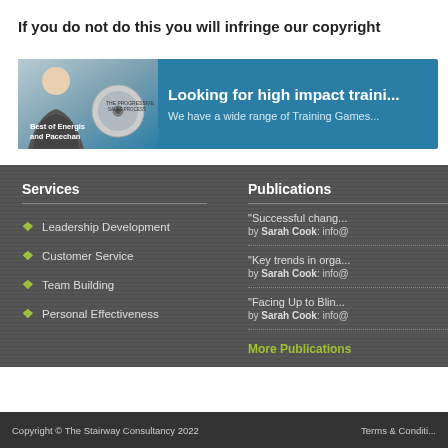If you do not do this you will infringe our copyright
[Figure (illustration): Banner: smiling person with DVD products on the left, teal background with text 'Looking for high impact traini...' and 'We have a wide range of Training Games...' on the right]
Services
Leadership Development
Customer Service
Team Building
Personal Effectiveness
Publications
"Successful chang... by Sarah Cook: info@
"Key trends in orga... by Sarah Cook: info@
"Facing Up to Blin... by Sarah Cook: info@
More Publications
Copyright © The Stairway Consultancy 2022    Terms & Conditi...